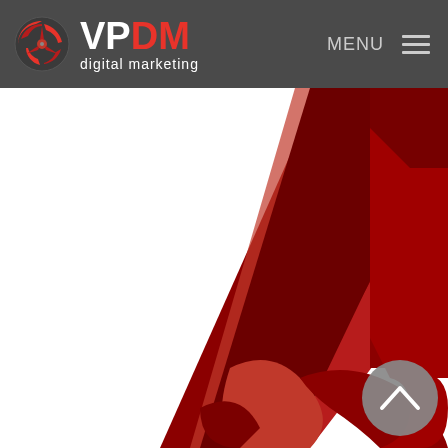[Figure (logo): VPDM digital marketing logo with red stylized icon and white/red text on dark grey navigation header bar, with MENU text and hamburger icon on the right]
[Figure (photo): Close-up macro shot of a large red stylized number or Arabic calligraphy letterform in deep red/crimson on white background, partially cropped, with a grey circular scroll-up button in the lower right corner]